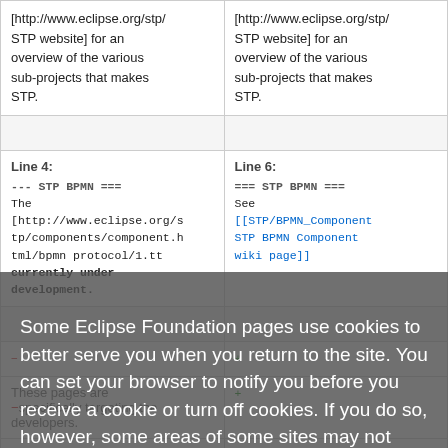|  |  |
| --- | --- |
| [http://www.eclipse.org/stp/ STP website] for an overview of the various sub-projects that makes STP. | [http://www.eclipse.org/stp/ STP website] for an overview of the various sub-projects that makes STP. |
| Line 4: | Line 6: |
| --- STP BPMN === The [http://www.eclipse.org/s tp/components/component.ht ml/bpmn protocol/1.tt currently under development. | === STP BPMN === See [[STP/BPMN_Component STP BPMN Component wiki page]]... These pages are −specifically targeting the developers. * [[STP BPMN Modeler |
Some Eclipse Foundation pages use cookies to better serve you when you return to the site. You can set your browser to notify you before you receive a cookie or turn off cookies. If you do so, however, some areas of some sites may not function properly. To read Eclipse Foundation Privacy Policy click here.